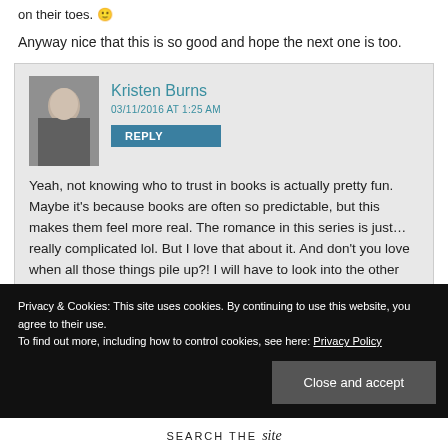on their toes. 🙂
Anyway nice that this is so good and hope the next one is too.
Kristen Burns
03/11/2016 AT 1:25 AM
REPLY

Yeah, not knowing who to trust in books is actually pretty fun. Maybe it's because books are often so predictable, but this makes them feel more real. The romance in this series is just… really complicated lol. But I love that about it. And don't you love when all those things pile up?! I will have to look into the other series you mentioned since they have
Privacy & Cookies: This site uses cookies. By continuing to use this website, you agree to their use.
To find out more, including how to control cookies, see here: Privacy Policy
Close and accept
SEARCH THE SITE